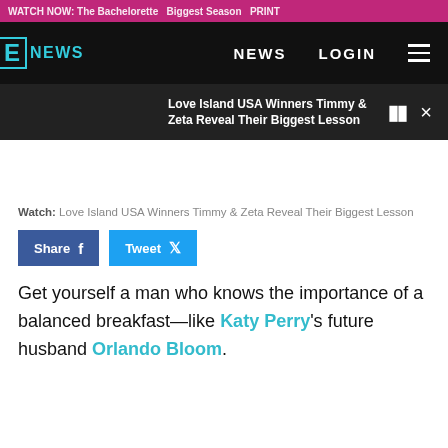WATCH NOW: The Bachelorette Biggest Season PRINT...
E NEWS  NEWS  LOGIN
Love Island USA Winners Timmy & Zeta Reveal Their Biggest Lesson
Watch: Love Island USA Winners Timmy & Zeta Reveal Their Biggest Lesson
Share  Tweet
Get yourself a man who knows the importance of a balanced breakfast—like Katy Perry's future husband Orlando Bloom.